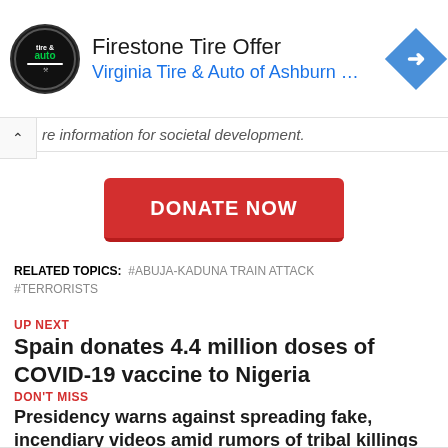[Figure (screenshot): Ad banner for Firestone Tire Offer from Virginia Tire & Auto of Ashburn with logo and navigation icon]
re information for societal development.
DONATE NOW
RELATED TOPICS:  #ABUJA-KADUNA TRAIN ATTACK  #TERRORISTS
UP NEXT
Spain donates 4.4 million doses of COVID-19 vaccine to Nigeria
DON'T MISS
Presidency warns against spreading fake, incendiary videos amid rumors of tribal killings